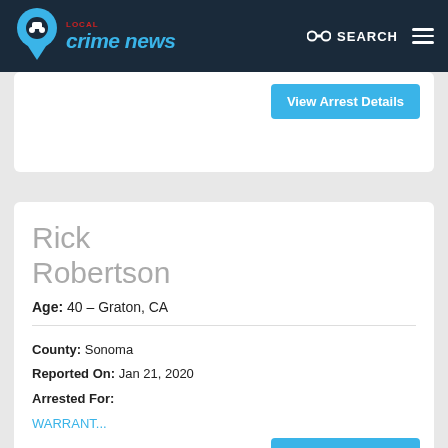Local Crime News — SEARCH
View Arrest Details
Rick Robertson
Age: 40 – Graton, CA
County: Sonoma
Reported On: Jan 21, 2020
Arrested For:
WARRANT...
View Arrest Details